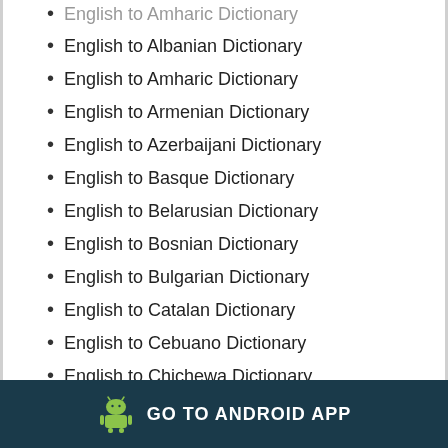English to Amharic Dictionary (partial, clipped at top)
English to Albanian Dictionary
English to Amharic Dictionary
English to Armenian Dictionary
English to Azerbaijani Dictionary
English to Basque Dictionary
English to Belarusian Dictionary
English to Bosnian Dictionary
English to Bulgarian Dictionary
English to Catalan Dictionary
English to Cebuano Dictionary
English to Chichewa Dictionary
GO TO ANDROID APP